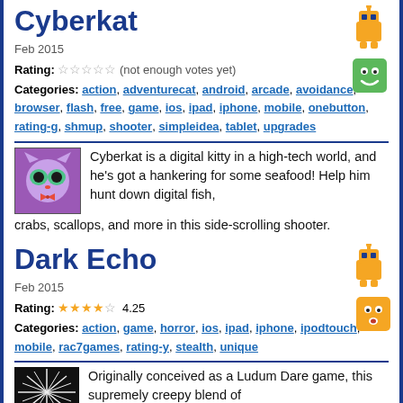Cyberkat
Feb 2015
Rating: ☆☆☆☆☆ (not enough votes yet)
Categories: action, adventurecat, android, arcade, avoidance, browser, flash, free, game, ios, ipad, iphone, mobile, onebutton, rating-g, shmup, shooter, simpleidea, tablet, upgrades
[Figure (illustration): Cyberkat game thumbnail: purple-tinted cat character with tech gear]
Cyberkat is a digital kitty in a high-tech world, and he's got a hankering for some seafood! Help him hunt down digital fish, crabs, scallops, and more in this side-scrolling shooter.
Dark Echo
Feb 2015
Rating: ★★★★☆ 4.25
Categories: action, game, horror, ios, ipad, iphone, ipodtouch, mobile, rac7games, rating-y, stealth, unique
[Figure (illustration): Dark Echo game thumbnail: black background with white radial lines/sound waves]
Originally conceived as a Ludum Dare game, this supremely creepy blend of